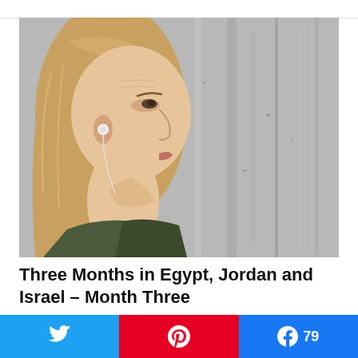[Figure (photo): Close-up profile photo of a middle-aged woman with blonde straight hair, wearing earbuds and a dark green top, looking to the right against a gray textured wall background.]
Three Months in Egypt, Jordan and Israel – Month Three
[Figure (infographic): Three social sharing buttons: Twitter (blue), Pinterest (red with pin icon), Facebook (blue) showing count of 79]